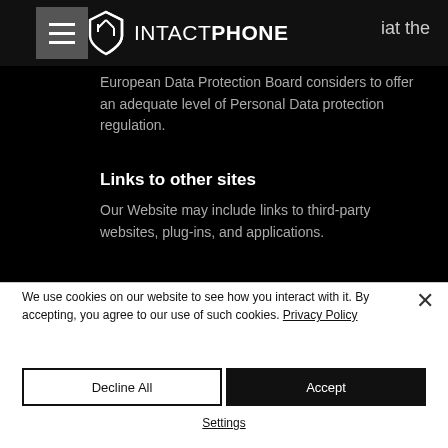[Figure (logo): IntactPhone logo with shield icon and hamburger menu, navigation bar]
European Data Protection Board considers to offer an adequate level of Personal Data protection regulation.
Links to other sites
Our Website may include links to third-party websites, plug-ins, and applications.
We use cookies on our website to see how you interact with it. By accepting, you agree to our use of such cookies. Privacy Policy
Decline All
Accept
Settings